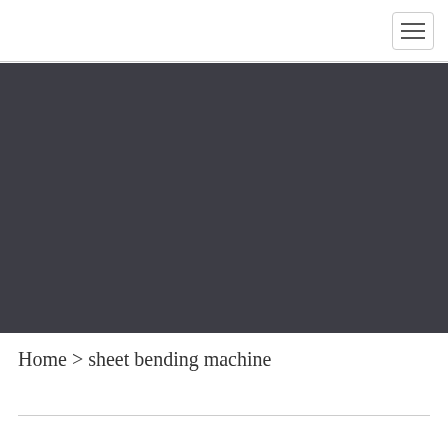[Figure (screenshot): Website navigation bar with hamburger menu button on the right side, white background with light gray border at bottom]
[Figure (photo): Dark gray hero banner background area, filling the center section of the page with no visible content]
Home > sheet bending machine